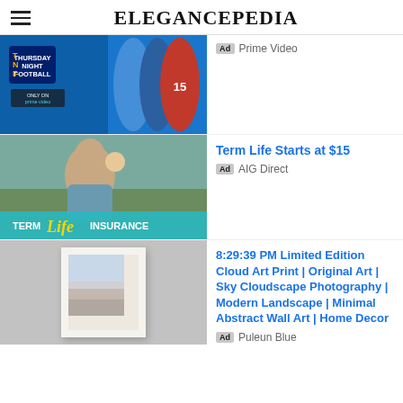ELEGANCEPEDIA
[Figure (screenshot): Thursday Night Football ad banner on Prime Video showing NFL players]
Ad  Prime Video
[Figure (photo): Term Life Insurance ad showing a man holding a baby]
Term Life Starts at $15
Ad  AIG Direct
[Figure (photo): Cloud art print product photo on gray background]
8:29:39 PM Limited Edition Cloud Art Print | Original Art | Sky Cloudscape Photography | Modern Landscape | Minimal Abstract Wall Art | Home Decor
Ad  Puleun Blue